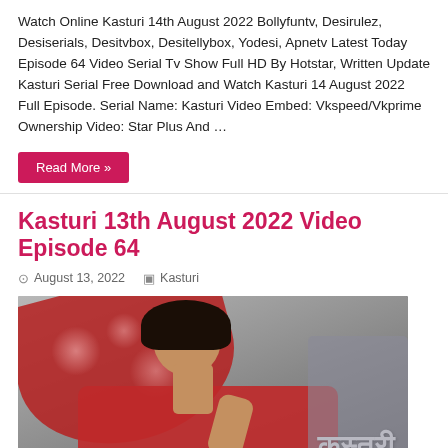Watch Online Kasturi 14th August 2022 Bollyfuntv, Desirulez, Desiserials, Desitvbox, Desitellybox, Yodesi, Apnetv Latest Today Episode 64 Video Serial Tv Show Full HD By Hotstar, Written Update Kasturi Serial Free Download and Watch Kasturi 14 August 2022 Full Episode. Serial Name: Kasturi Video Embed: Vkspeed/Vkprime Ownership Video: Star Plus And …
Read More »
Kasturi 13th August 2022 Video Episode 64
August 13, 2022   Kasturi
[Figure (photo): Thumbnail image of a woman in a red sari holding a red umbrella with Hindi text 'कस्तूरी' (Kasturi) overlaid on the right side]